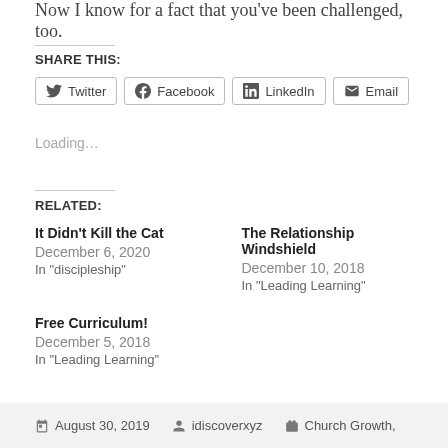Now I know for a fact that you've been challenged, too.
SHARE THIS:
Twitter  Facebook  LinkedIn  Email
Loading...
RELATED:
It Didn't Kill the Cat
December 6, 2020
In "discipleship"
The Relationship Windshield
December 10, 2018
In "Leading Learning"
Free Curriculum!
December 5, 2018
In "Leading Learning"
August 30, 2019  idiscoverxyz  Church Growth,